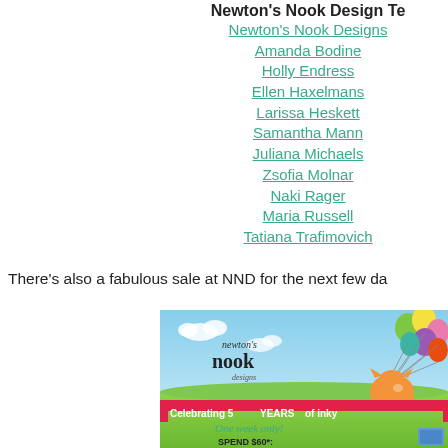Newton's Nook Design Te
Newton's Nook Designs
Amanda Bodine
Holly Endress
Ellen Haxelmans
Larissa Heskett
Samantha Mann
Juliana Michaels
Zsofia Molnar
Naki Rager
Maria Russell
Tatiana Trafimovich
There's also a fabulous sale at NND for the next few da
[Figure (illustration): Newton's Nook Designs promotional banner showing a cartoon orange cat holding balloons, with logo, pink ribbon banner reading 'Celebrating 5 YEARS of inky', teal script 'One week only!' and bold text 'SPEND $60*:']